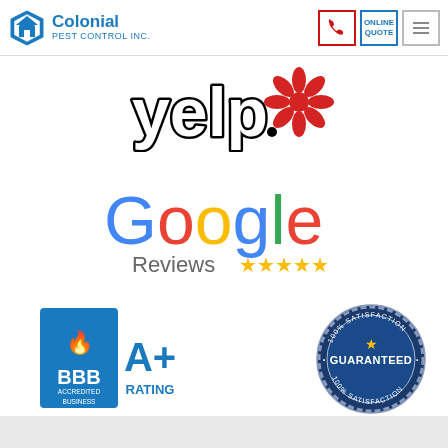Colonial Pest Control Inc. | Online Quote | Phone | Menu
[Figure (logo): Yelp logo with red burst icon and black outlined text]
[Figure (logo): Google Reviews logo with 5 gold stars]
[Figure (logo): BBB Accredited Business A+ Rating logo]
[Figure (logo): 100% Satisfaction Guaranteed circular badge in navy blue]